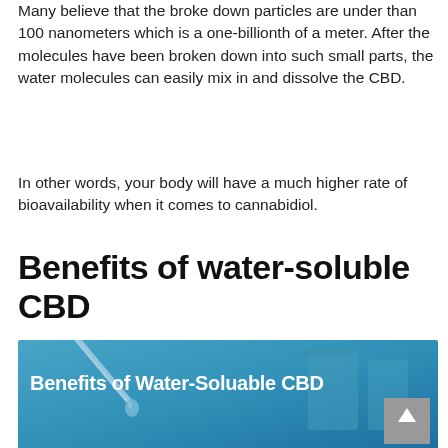Many believe that the broke down particles are under than 100 nanometers which is a one-billionth of a meter. After the molecules have been broken down into such small parts, the water molecules can easily mix in and dissolve the CBD.
In other words, your body will have a much higher rate of bioavailability when it comes to cannabidiol.
Benefits of water-soluble CBD
[Figure (photo): Photo of laboratory equipment (dropper/pipette and beakers) with blue tint overlay and text 'Benefits of Water-Soluable CBD'. A grey scroll-to-top button with an up arrow is overlaid in the bottom-right corner.]